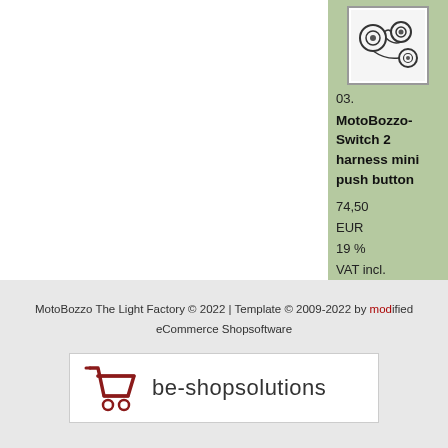[Figure (photo): Product thumbnail image of electrical harness/switch components with circular connectors]
03. MotoBozzo-Switch 2 harness mini push button
74,50 EUR 19 % VAT incl. excl. Shipping costs
MotoBozzo The Light Factory © 2022 | Template © 2009-2022 by modified eCommerce Shopsoftware
[Figure (logo): be-shopsolutions logo with shopping cart icon]